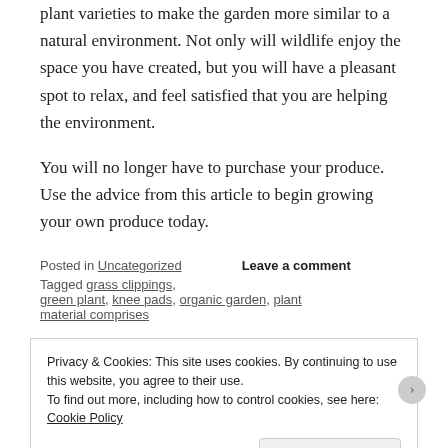plant varieties to make the garden more similar to a natural environment. Not only will wildlife enjoy the space you have created, but you will have a pleasant spot to relax, and feel satisfied that you are helping the environment.
You will no longer have to purchase your produce. Use the advice from this article to begin growing your own produce today.
Posted in Uncategorized   Leave a comment
Tagged grass clippings, green plant, knee pads, organic garden, plant material comprises
Privacy & Cookies: This site uses cookies. By continuing to use this website, you agree to their use.
To find out more, including how to control cookies, see here: Cookie Policy
Close and accept